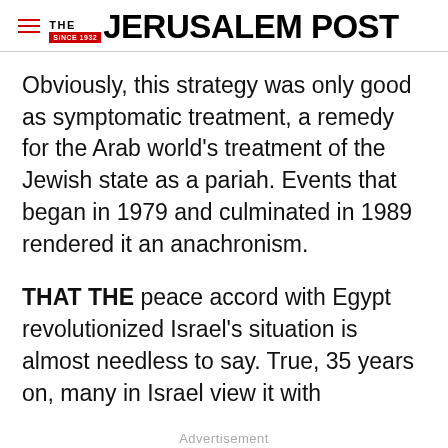THE JERUSALEM POST
Obviously, this strategy was only good as symptomatic treatment, a remedy for the Arab world’s treatment of the Jewish state as a pariah. Events that began in 1979 and culminated in 1989 rendered it an anachronism.
THAT THE peace accord with Egypt revolutionized Israel’s situation is almost needless to say. True, 35 years on, many in Israel view it with
Advertisement